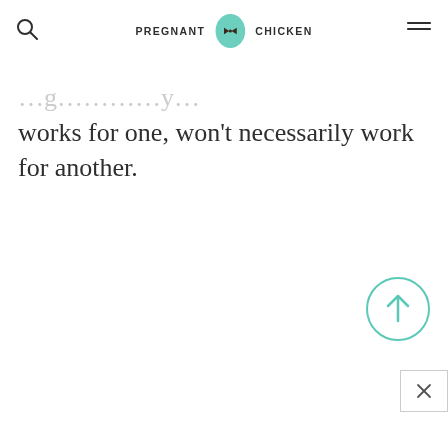PREGNANT CHICKEN
works for one, won't necessarily work for another.
[Figure (other): Scroll-to-top button: teal circle outline with an upward arrow inside]
[Figure (other): Close/dismiss button: white square with border containing an X symbol]